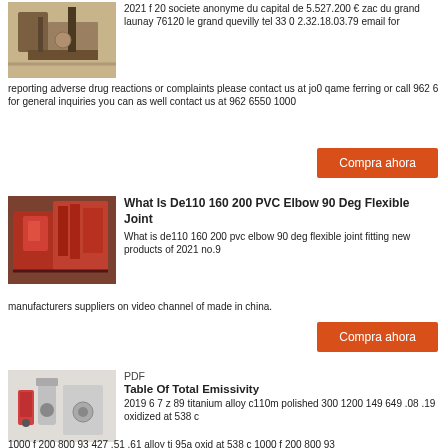[Figure (photo): Industrial construction/machinery site photo]
2021 f 20 societe anonyme du capital de 5.527.200 € zac du grand launay 76120 le grand quevilly tel 33 0 2.32.18.03.79 email for reporting adverse drug reactions or complaints please contact us at jo0 qame ferring or call 962 6 for general inquiries you can as well contact us at 962 6550 1000
[Figure (other): Button: Compra ahora (orange)]
[Figure (photo): Industrial red machinery/equipment photo]
What Is De110 160 200 PVC Elbow 90 Deg Flexible Joint
What is de110 160 200 pvc elbow 90 deg flexible joint fitting new products of 2021 no.9 manufacturers suppliers on video channel of made in china.
[Figure (other): Button: Compra ahora (orange)]
[Figure (photo): Industrial equipment with red and grey cylinders]
PDF
Table Of Total Emissivity
2019 6 7 z 89 titanium alloy c110m polished 300 1200 149 649 .08 .19 oxidized at 538 c 1000 f 200 800 93 427 .51 .61 alloy ti 95a oxid at 538 c 1000 f 200 800 93